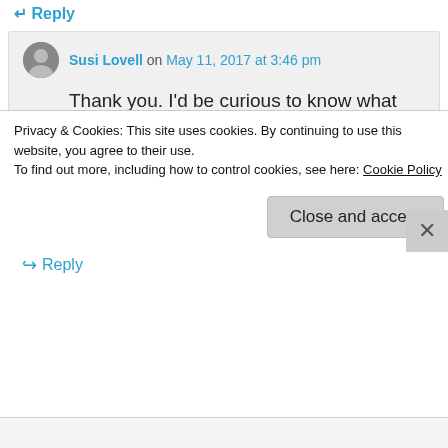↵ Reply
Susi Lovell on May 11, 2017 at 3:46 pm
Thank you. I'd be curious to know what people who live in the same place (same house) all their lives would think of this. I wonder how it is for them.
★ Liked by 1 person
↪ Reply
Privacy & Cookies: This site uses cookies. By continuing to use this website, you agree to their use.
To find out more, including how to control cookies, see here: Cookie Policy
Close and accept